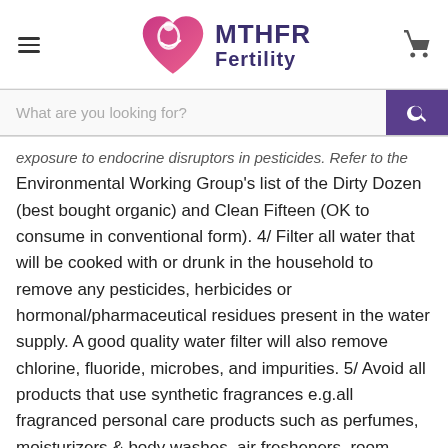[Figure (logo): MTHFR Fertility logo with heart/mother-child SVG icon and purple text]
What are you looking for?
exposure to endocrine disruptors in pesticides. Refer to the Environmental Working Group's list of the Dirty Dozen (best bought organic) and Clean Fifteen (OK to consume in conventional form). 4/ Filter all water that will be cooked with or drunk in the household to remove any pesticides, herbicides or hormonal/pharmaceutical residues present in the water supply. A good quality water filter will also remove chlorine, fluoride, microbes, and impurities. 5/ Avoid all products that use synthetic fragrances e.g.all fragranced personal care products such as perfumes, moisturizers & body washes, air fresheners, room sprays, car air fresheners, deodorizers and household cleaning products. 6/ Avoid using dryer sheets and fabric softener. 7/ Use a low chemical, eco-friendly dry cleaner over commercial. 8/ If